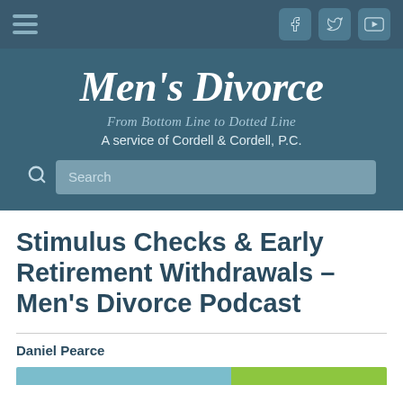[Figure (screenshot): Navigation bar with hamburger menu icon on left and social media icons (Facebook, Twitter, YouTube) on right, dark teal background]
[Figure (logo): Men's Divorce logo with tagline 'From Bottom Line to Dotted Line' and 'A service of Cordell & Cordell, P.C.' on dark teal background with search bar]
Stimulus Checks & Early Retirement Withdrawals – Men's Divorce Podcast
Daniel Pearce